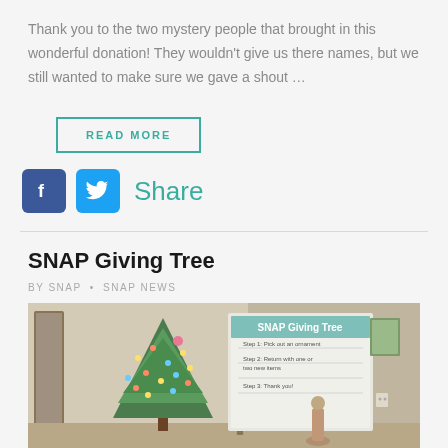Thank you to the two mystery people that brought in this wonderful donation! They wouldn't give us there names, but we still wanted to make sure we gave a shout ...
READ MORE
[Figure (infographic): Facebook and Twitter share icons with 'Share' text in teal]
SNAP Giving Tree
BY SNAP • SNAP NEWS
[Figure (photo): Photo of a decorated Christmas tree next to a SNAP Giving Tree sign on a board]